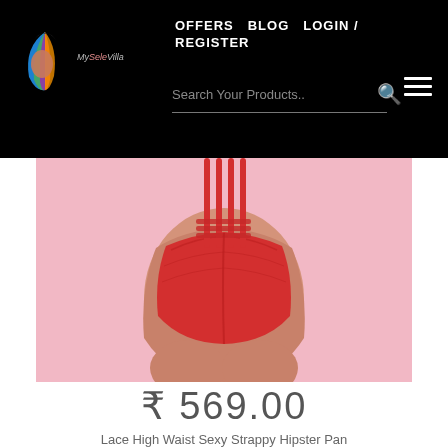OFFERS  BLOG  LOGIN / REGISTER
[Figure (logo): MySeleVille brand logo with colorful hair/feather design and brand name]
Search Your Products..
[Figure (photo): Red lace high waist strappy hipster panty on pink background, close-up torso shot]
₹ 569.00
Lace High Waist Sexy Strappy Hipster Pan
VIEW PRODUCT
[Figure (photo): Bottom strip showing partial image with blonde hair on warm background]